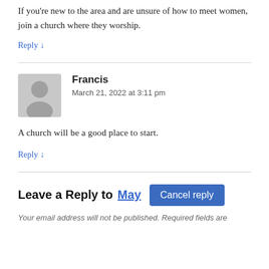If you're new to the area and are unsure of how to meet women, join a church where they worship.
Reply ↓
[Figure (illustration): Generic grey avatar placeholder icon showing a silhouette of a person]
Francis
March 21, 2022 at 3:11 pm
A church will be a good place to start.
Reply ↓
Leave a Reply to May  Cancel reply
Your email address will not be published. Required fields are